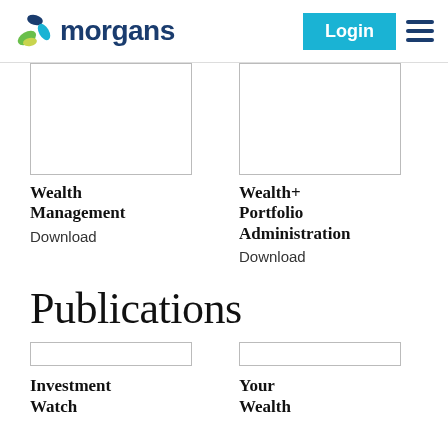[Figure (logo): Morgans financial logo with colorful butterfly/leaf icon and blue 'morgans' text, plus Login button and hamburger menu]
[Figure (photo): Wealth Management product image (white/blank card)]
Wealth Management
Download
[Figure (photo): Wealth+ Portfolio Administration product image (white/blank card)]
Wealth+ Portfolio Administration
Download
Publications
[Figure (photo): Investment Watch publication image (white/blank card)]
Investment Watch
[Figure (photo): Your Wealth publication image (white/blank card)]
Your Wealth